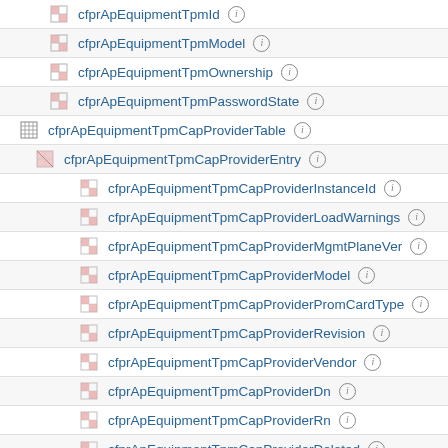cfprApEquipmentTpmId
cfprApEquipmentTpmModel
cfprApEquipmentTpmOwnership
cfprApEquipmentTpmPasswordState
cfprApEquipmentTpmCapProviderTable
cfprApEquipmentTpmCapProviderEntry
cfprApEquipmentTpmCapProviderInstanceId
cfprApEquipmentTpmCapProviderLoadWarnings
cfprApEquipmentTpmCapProviderMgmtPlaneVer
cfprApEquipmentTpmCapProviderModel
cfprApEquipmentTpmCapProviderPromCardType
cfprApEquipmentTpmCapProviderRevision
cfprApEquipmentTpmCapProviderVendor
cfprApEquipmentTpmCapProviderDn
cfprApEquipmentTpmCapProviderRn
cfprApEquipmentTpmCapProviderDeleted